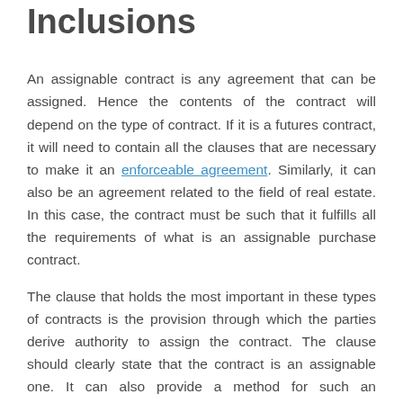Inclusions
An assignable contract is any agreement that can be assigned. Hence the contents of the contract will depend on the type of contract. If it is a futures contract, it will need to contain all the clauses that are necessary to make it an enforceable agreement. Similarly, it can also be an agreement related to the field of real estate. In this case, the contract must be such that it fulfills all the requirements of what is an assignable purchase contract.
The clause that holds the most important in these types of contracts is the provision through which the parties derive authority to assign the contract. The clause should clearly state that the contract is an assignable one. It can also provide a method for such an assignment. This can include the opposite party being notified of the intention to assign, the